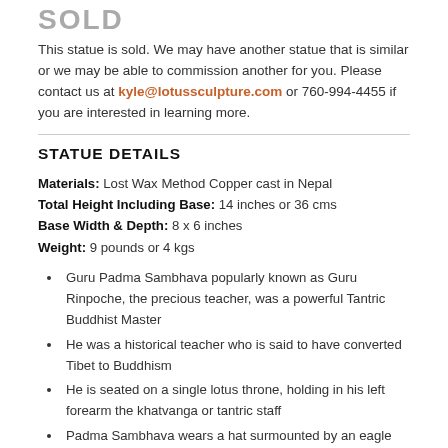This statue is sold. We may have another statue that is similar or we may be able to commission another for you. Please contact us at kyle@lotussculpture.com or 760-994-4455 if you are interested in learning more.
STATUE DETAILS
Materials: Lost Wax Method Copper cast in Nepal
Total Height Including Base: 14 inches or 36 cms
Base Width & Depth: 8 x 6 inches
Weight: 9 pounds or 4 kgs
Guru Padma Sambhava popularly known as Guru Rinpoche, the precious teacher, was a powerful Tantric Buddhist Master
He was a historical teacher who is said to have converted Tibet to Buddhism
He is seated on a single lotus throne, holding in his left forearm the khatvanga or tantric staff
Padma Sambhava wears a hat surmounted by an eagle feather, and immense jewel-ornamented earrings